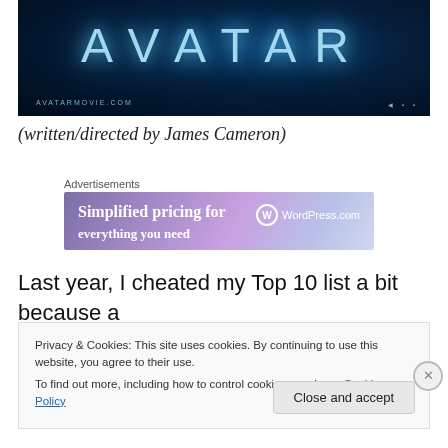[Figure (photo): Avatar movie promotional banner with dark blue space background and glowing blue AVATAR title text, avatarmovie.com URL at bottom left, studio logos at bottom right]
(written/directed by James Cameron)
Advertisements
[Figure (screenshot): WordPress.com advertisement banner: 'Simplified pricing for everything you need' with WordPress.com logo on right, gradient purple/blue background]
Last year, I cheated my Top 10 list a bit because a numbering error in Word caused me to accidentally type
Privacy & Cookies: This site uses cookies. By continuing to use this website, you agree to their use.
To find out more, including how to control cookies, see here: Cookie Policy
Close and accept